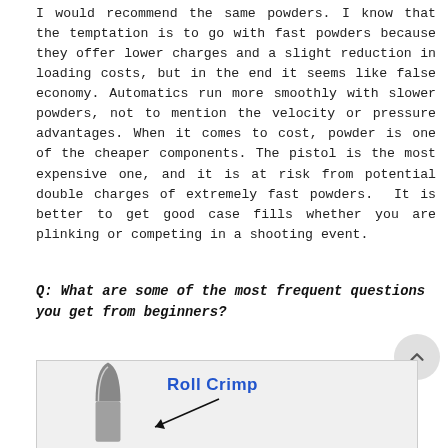I would recommend the same powders. I know that the temptation is to go with fast powders because they offer lower charges and a slight reduction in loading costs, but in the end it seems like false economy. Automatics run more smoothly with slower powders, not to mention the velocity or pressure advantages. When it comes to cost, powder is one of the cheaper components. The pistol is the most expensive one, and it is at risk from potential double charges of extremely fast powders. It is better to get good case fills whether you are plinking or competing in a shooting event.
Q: What are some of the most frequent questions you get from beginners?
[Figure (photo): Photo of a bullet/cartridge with a label 'Roll Crimp' and an arrow pointing to the crimp area of the cartridge.]